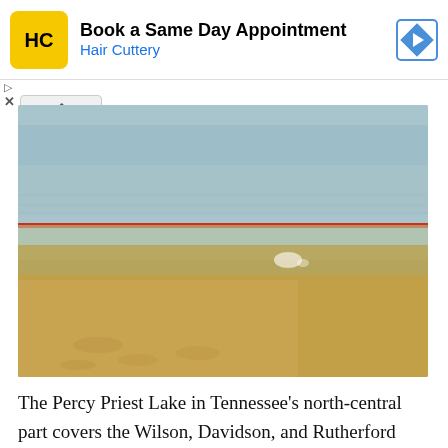[Figure (other): Hair Cuttery advertisement banner with logo, 'Book a Same Day Appointment' text, and navigation arrow icon]
[Figure (photo): Photo of a sandy beach shoreline at Percy Priest Lake in Tennessee, with calm water and a red horizontal line/bar visible near the top of the image]
The Percy Priest Lake in Tennessee's north-central part covers the Wilson, Davidson, and Rutherford Counties. The Nashville Shores,